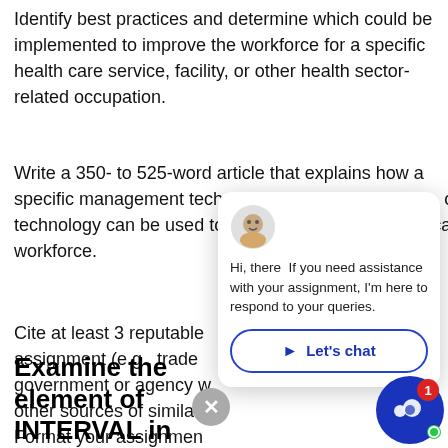Identify best practices and determine which could be implemented to improve the workforce for a specific health care service, facility, or other health sector-related occupation.
Write a 350- to 525-word article that explains how a specific management technique, operational practice, or technology can be used to improve a specific health care workforce.
Cite at least 3 reputable sources for your assignment (e.g., trade or industry publications, government or agency websites, scholarly works, other sources of similar quality).
Format your assignment according to guidelines.
[Figure (screenshot): Chat widget popup showing an avatar icon, a greeting message 'Hi, there If you need assistance with your assignment, I'm here to respond to your queries.' and a 'Let's chat' button with a blue arrow icon. A close (X) button and a chat launcher icon with notification badge (1) and green dot are also visible.]
Examine the element of INTERVAL in